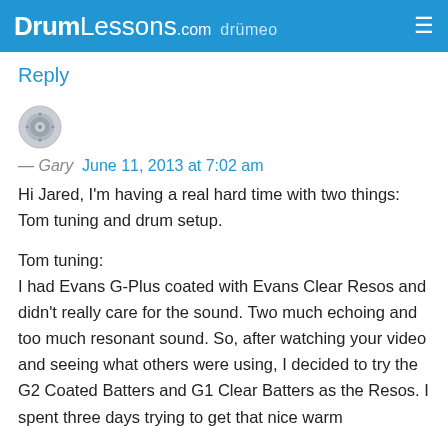DrumLessons.com drumeo
Reply
[Figure (photo): Circular avatar image of a snare drum]
— Gary   June 11, 2013 at 7:02 am
Hi Jared, I'm having a real hard time with two things: Tom tuning and drum setup.

Tom tuning:
I had Evans G-Plus coated with Evans Clear Resos and didn't really care for the sound. Two much echoing and too much resonant sound. So, after watching your video and seeing what others were using, I decided to try the G2 Coated Batters and G1 Clear Batters as the Resos. I spent three days trying to get that nice warm